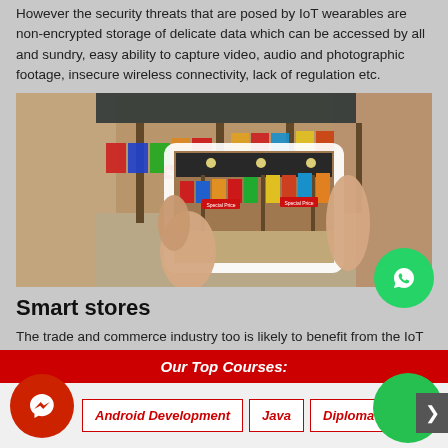However the security threats that are posed by IoT wearables are non-encrypted storage of delicate data which can be accessed by all and sundry, easy ability to capture video, audio and photographic footage, insecure wireless connectivity, lack of regulation etc.
[Figure (photo): A person holding a tablet/smartphone framing a retail clothing store interior with colorful garments on display racks and 'Special Price' signs]
Smart stores
The trade and commerce industry too is likely to benefit from the IoT in a lot of ways. Retail establishments like large shopping
Our Top Courses:
Android Development
Java
Diploma In Cyber